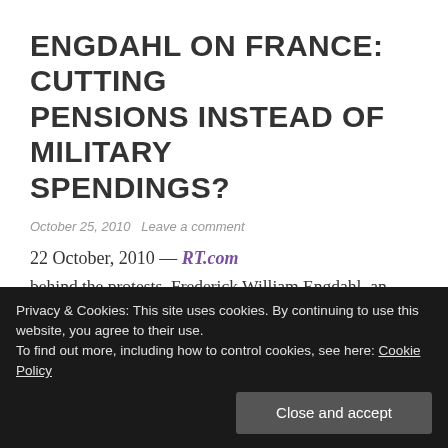ENGDAHL ON FRANCE: CUTTING PENSIONS INSTEAD OF MILITARY SPENDINGS?
October 25, 2010   Leave a comment
22 October, 2010 — RT.com
French police have broken the blockade of a refinery crucial for the capital's fuel supplies. A workers union that captured the depot said at least three people were injured in the clashes. A special operation ended the
Privacy & Cookies: This site uses cookies. By continuing to use this website, you agree to their use.
To find out more, including how to control cookies, see here: Cookie Policy
behind the protests. Frederick William Engdahl, an